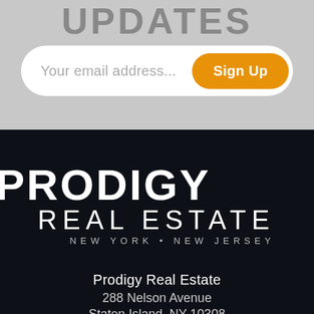UPDATES
Your email address...
Sign Up
[Figure (logo): Prodigy Real Estate logo — white bold PRODIGY text above REAL ESTATE in spaced caps, with NEW YORK • NEW JERSEY subtitle, on dark navy background]
Prodigy Real Estate
288 Nelson Avenue
Staten Island, NY 10308